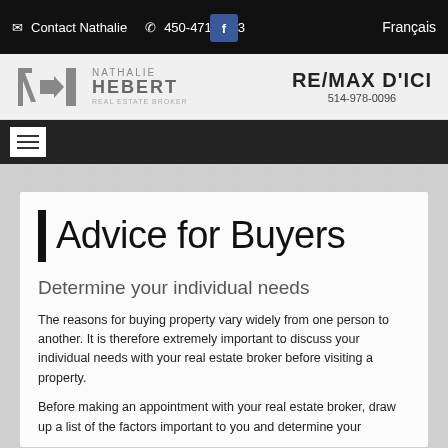Contact Nathalie  450-471-5503  Français
[Figure (logo): Nathalie Hebert Real Estate Broker logo and RE/MAX D'ICI 514-978-0096 logo]
Advice for Buyers
Determine your individual needs
The reasons for buying property vary widely from one person to another. It is therefore extremely important to discuss your individual needs with your real estate broker before visiting a property.
Before making an appointment with your real estate broker, draw up a list of the factors important to you and determine your